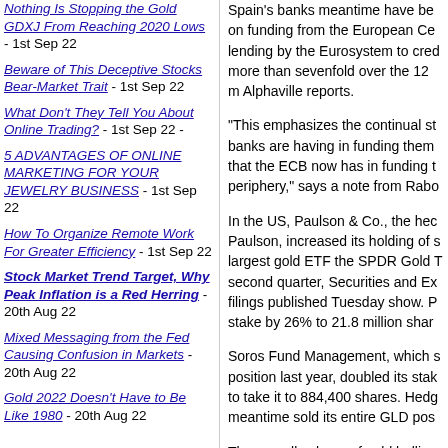Nothing Is Stopping the Gold GDXJ From Reaching 2020 Lows - 1st Sep 22
Beware of This Deceptive Stocks Bear-Market Trait - 1st Sep 22
What Don't They Tell You About Online Trading? - 1st Sep 22 -
5 ADVANTAGES OF ONLINE MARKETING FOR YOUR JEWELRY BUSINESS - 1st Sep 22
How To Organize Remote Work For Greater Efficiency - 1st Sep 22
Stock Market Trend Target, Why Peak Inflation is a Red Herring - 20th Aug 22
Mixed Messaging from the Fed Causing Confusion in Markets - 20th Aug 22
Gold 2022 Doesn't Have to Be Like 1980 - 20th Aug 22
Spain's banks meantime have been on funding from the European Ce lending by the Eurosystem to cred more than sevenfold over the 12 m Alphaville reports.
"This emphasizes the continual st banks are having in funding them that the ECB now has in funding t periphery," says a note from Rabo
In the US, Paulson & Co., the hec Paulson, increased its holding of s largest gold ETF the SPDR Gold T second quarter, Securities and Ex filings published Tuesday show. P stake by 26% to 21.8 million share
Soros Fund Management, which s position last year, doubled its stak to take it to 884,400 shares. Hedg meantime sold its entire GLD pos
The overall volume of gold bullion